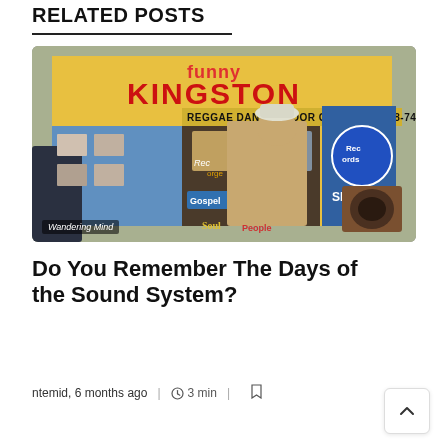RELATED POSTS
[Figure (photo): A man in a beige outfit and white hat leaning against a colorful van/truck with signage reading 'Funny Kingston – Reggae Dance Floor Grooves 1968-74', 'Record Shack', 'Gospel', 'Soul', 'People'. Caption overlay: Wandering Mind]
Do You Remember The Days of the Sound System?
ntemid, 6 months ago  |  3 min  |